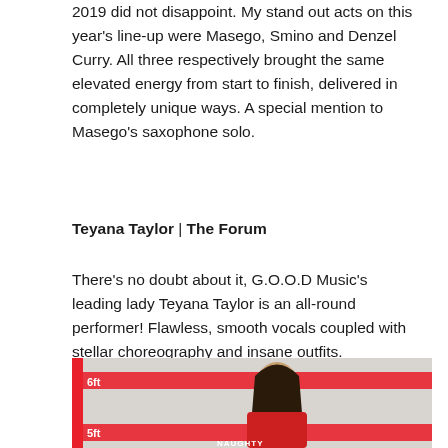2019 did not disappoint. My stand out acts on this year's line-up were Masego, Smino and Denzel Curry. All three respectively brought the same elevated energy from start to finish, delivered in completely unique ways. A special mention to Masego's saxophone solo.
Teyana Taylor | The Forum
There's no doubt about it, G.O.O.D Music's leading lady Teyana Taylor is an all-round performer! Flawless, smooth vocals coupled with stellar choreography and insane outfits.
[Figure (photo): Photo of Teyana Taylor posed in front of a height measurement background with red horizontal bars at 6ft and 5ft markings, with a red vertical bar on the left side. She appears to be wearing a red outfit with 'NAUGHTY' text visible at the bottom.]